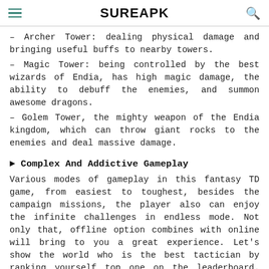SUREAPK
– Archer Tower: dealing physical damage and bringing useful buffs to nearby towers.
– Magic Tower: being controlled by the best wizards of Endia, has high magic damage, the ability to debuff the enemies, and summon awesome dragons.
– Golem Tower, the mighty weapon of the Endia kingdom, which can throw giant rocks to the enemies and deal massive damage.
► Complex And Addictive Gameplay
Various modes of gameplay in this fantasy TD game, from easiest to toughest, besides the campaign missions, the player also can enjoy the infinite challenges in endless mode. Not only that, offline option combines with online will bring to you a great experience. Let's show the world who is the best tactician by ranking yourself top one on the leaderboard. The endless mode is also a very good one to farm gems and to be a legend in epic battle.